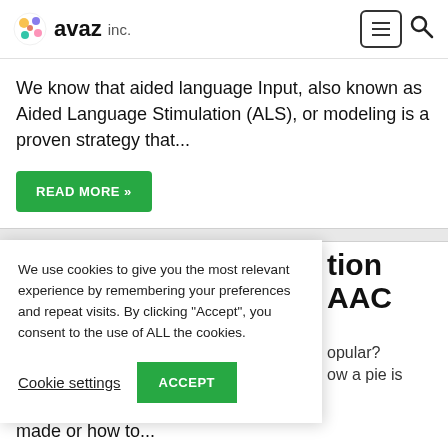avaz inc.
We know that aided language Input, also known as Aided Language Stimulation (ALS), or modeling is a proven strategy that...
READ MORE »
We use cookies to give you the most relevant experience by remembering your preferences and repeat visits. By clicking "Accept", you consent to the use of ALL the cookies.
Cookie settings   ACCEPT
tion AAC
opular? ow a pie is
made or how to...